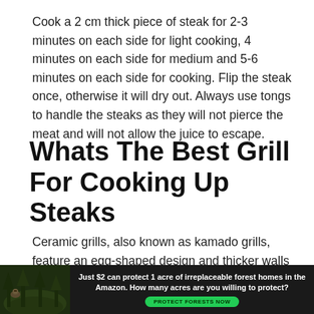Cook a 2 cm thick piece of steak for 2-3 minutes on each side for light cooking, 4 minutes on each side for medium and 5-6 minutes on each side for cooking. Flip the steak once, otherwise it will dry out. Always use tongs to handle the steaks as they will not pierce the meat and will not allow the juice to escape.
Whats The Best Grill For Cooking Up Steaks
Ceramic grills, also known as kamado grills, feature an egg-shaped design and thicker walls that allow for more precise temperature control. With steaks, its all about regulating the temperature in order to ensure your steak is cooked to
[Figure (infographic): Advertisement banner with dark background showing a forest/Amazon theme. Text reads: 'Just $2 can protect 1 acre of irreplaceable forest homes in the Amazon. How many acres are you willing to protect?' with a green 'PROTECT FORESTS NOW' button.]